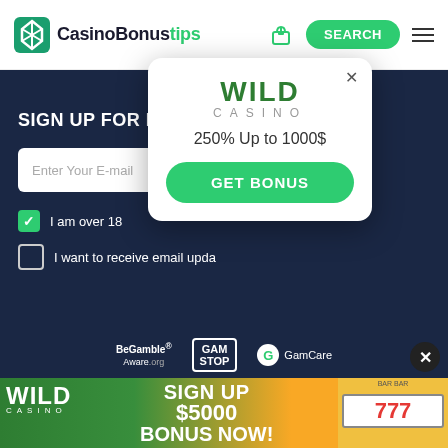CasinoBonustips - SEARCH
SIGN UP FOR NO DEPOSIT B
Enter Your E-mail
I am over 18
I want to receive email upda
[Figure (screenshot): Wild Casino popup with WILD CASINO logo, 250% Up to 1000$ offer, and GET BONUS button]
[Figure (logo): BeGambleAware.org logo]
[Figure (logo): GamStop logo in bordered box]
[Figure (logo): GamCare logo with G circle]
[Figure (infographic): Wild Casino banner: SIGN UP $5000 BONUS NOW! with slot machine 777 image]